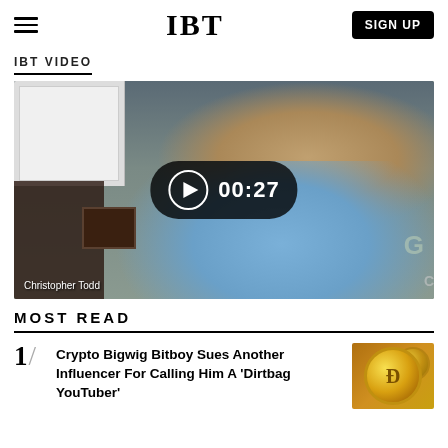IBT | SIGN UP
IBT VIDEO
[Figure (screenshot): Video thumbnail showing Christopher Todd, a man in a blue shirt, with a play button overlay showing duration 00:27]
Christopher Todd
MOST READ
1/ Crypto Bigwig Bitboy Sues Another Influencer For Calling Him A 'Dirtbag YouTuber'